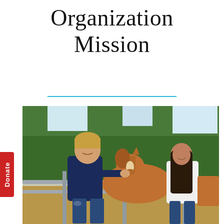Organization Mission
[Figure (photo): Two young people (a man in a navy blue t-shirt and a woman in a white t-shirt) standing at a metal fence petting a brown horse, with green trees in the background at a farm or ranch setting.]